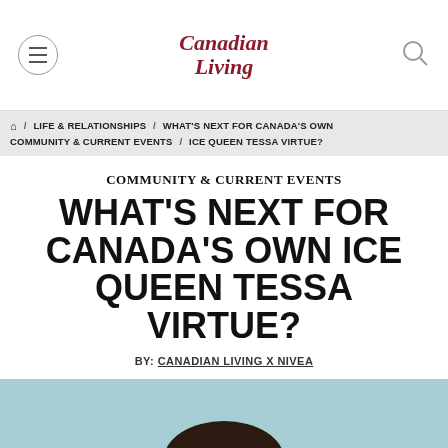Canadian Living
🏠 / LIFE & RELATIONSHIPS / WHAT'S NEXT FOR CANADA'S OWN COMMUNITY & CURRENT EVENTS / ICE QUEEN TESSA VIRTUE?
COMMUNITY & CURRENT EVENTS
WHAT'S NEXT FOR CANADA'S OWN ICE QUEEN TESSA VIRTUE?
BY: CANADIAN LIVING X NIVEA
[Figure (photo): Portrait photo of Tessa Virtue smiling, with long dark hair, against a light blue background]